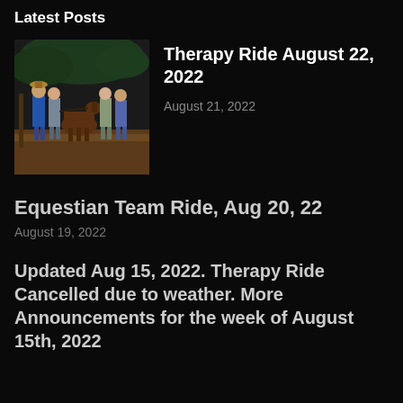Latest Posts
[Figure (photo): Group of people walking with a horse in an outdoor equestrian setting]
Therapy Ride August 22, 2022
August 21, 2022
Equestian Team Ride, Aug 20, 22
August 19, 2022
Updated Aug 15, 2022. Therapy Ride Cancelled due to weather. More Announcements for the week of August 15th, 2022